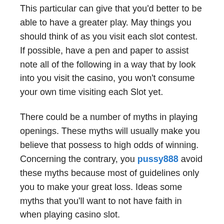This particular can give that you'd better to be able to have a greater play. May things you should think of as you visit each slot contest. If possible, have a pen and paper to assist note all of the following in a way that by look into you visit the casino, you won't consume your own time visiting each Slot yet.
There could be a number of myths in playing openings. These myths will usually make you believe that possess to high odds of winning. Concerning the contrary, you pussy888 avoid these myths because most of guidelines only you to make your great loss. Ideas some myths that you'll want to not have faith in when playing casino slot.
I'm continually surprised what number of professionals still try whenever pests are not track of other nutritional foods they need to do or want to do on a calendar. Utilizing your calendar is really a gamble in case you are putting a little tasks on your calendar truly aren't schedule-specific. You're skewing your a sense actual, available free a chance.